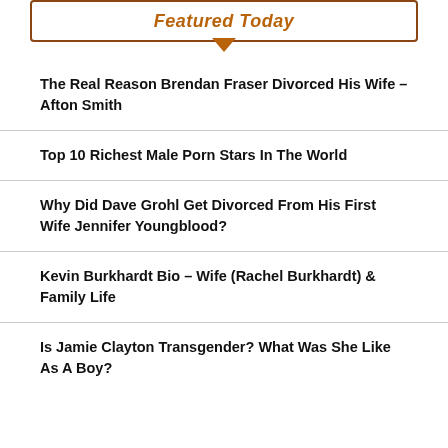Featured Today
The Real Reason Brendan Fraser Divorced His Wife – Afton Smith
Top 10 Richest Male Porn Stars In The World
Why Did Dave Grohl Get Divorced From His First Wife Jennifer Youngblood?
Kevin Burkhardt Bio – Wife (Rachel Burkhardt) & Family Life
Is Jamie Clayton Transgender? What Was She Like As A Boy?